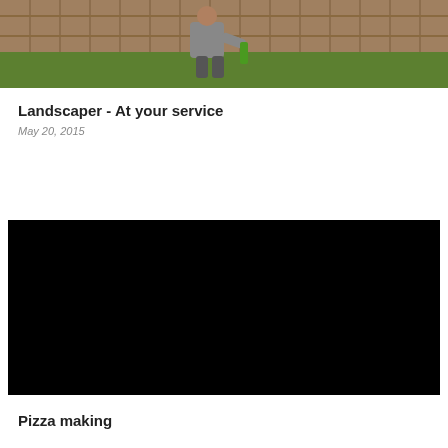[Figure (photo): A person (seen from behind) wearing a grey shirt, standing on a green lawn near a wooden fence, holding a green object. Outdoor daytime photo.]
Landscaper - At your service
May 20, 2015
[Figure (screenshot): A black rectangle representing an embedded video player with no visible content.]
Pizza making